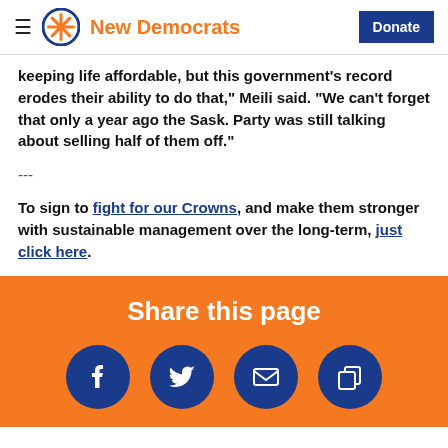New Democrats | Donate
keeping life affordable, but this government's record erodes their ability to do that," Meili said. "We can't forget that only a year ago the Sask. Party was still talking about selling half of them off."
---
To sign to fight for our Crowns, and make them stronger with sustainable management over the long-term, just click here.
Share this page
[Figure (infographic): Four social sharing buttons: Facebook, Twitter, Email, Copy link — white icons on dark blue circles on orange background]